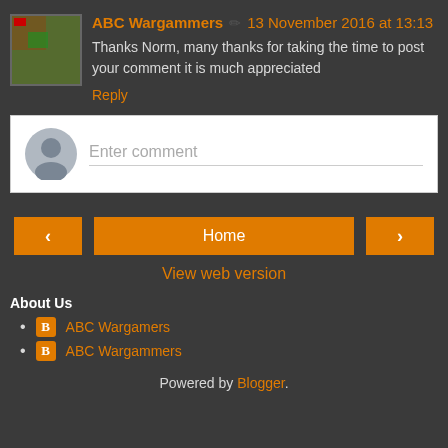ABC Wargammers ✏ 13 November 2016 at 13:13
Thanks Norm, many thanks for taking the time to post your comment it is much appreciated
Reply
Enter comment
Home
View web version
About Us
ABC Wargamers
ABC Wargammers
Powered by Blogger.